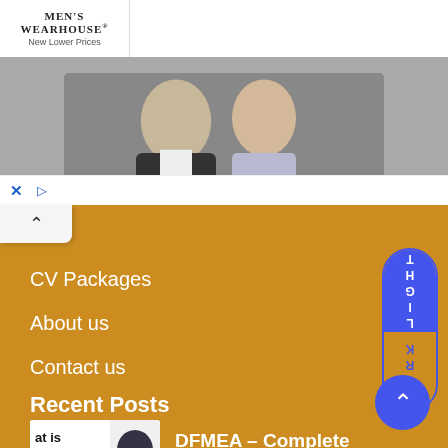[Figure (screenshot): Men's Wearhouse advertisement banner showing a couple in formal wear and a man in a suit, with INFO button]
MEN'S WEARHOUSE®
New Lower Prices
INFO
[Figure (screenshot): Ad controls bar with X and play button icons]
CV Packages
About us
Contact us
Recent Posts
DFMEA – Complete Guide
[Figure (photo): Thumbnail image for DFMEA article showing text: at is MEA / MEA / Design / Must]